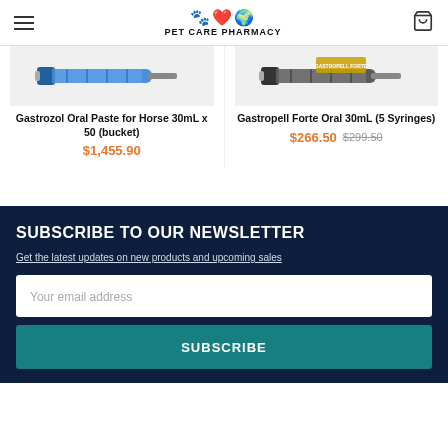Pet Care Pharmacy
[Figure (photo): Gastrozol Oral Paste product syringe image]
[Figure (photo): Gastropell Forte Oral product syringe image]
Gastrozol Oral Paste for Horse 30mL x 50 (bucket)
$1,455.90
Gastropell Forte Oral 30mL (5 Syringes)
$266.50 $299.50
SUBSCRIBE TO OUR NEWSLETTER
Get the latest updates on new products and upcoming sales